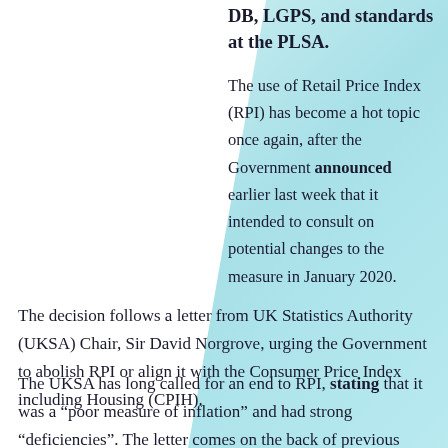DB, LGPS, and standards at the PLSA.
The use of Retail Price Index (RPI) has become a hot topic once again, after the Government announced earlier last week that it intended to consult on potential changes to the measure in January 2020.
The decision follows a letter from UK Statistics Authority (UKSA) Chair, Sir David Norgrove, urging the Government to abolish RPI or align it with the Consumer Price Index including Housing (CPIH).
The UKSA has long called for an end to RPI, stating that it was a “poor measure of inflation” and had strong “deficiencies”. The letter comes on the back of previous